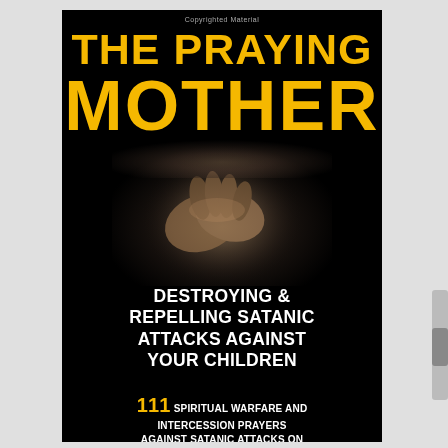Copyrighted Material
THE PRAYING MOTHER
[Figure (photo): Clasped hands in prayer against a dark background, dramatically lit]
DESTROYING & REPELLING SATANIC ATTACKS AGAINST YOUR CHILDREN
111 SPIRITUAL WARFARE AND INTERCESSION PRAYERS AGAINST SATANIC ATTACKS ON